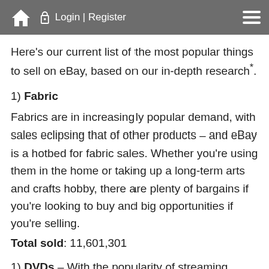Login | Register
Here's our current list of the most popular things to sell on eBay, based on our in-depth research*.
1) Fabric
Fabrics are in increasingly popular demand, with sales eclipsing that of other products – and eBay is a hotbed for fabric sales. Whether you're using them in the home or taking up a long-term arts and crafts hobby, there are plenty of bargains if you're looking to buy and big opportunities if you're selling.
Total sold: 11,601,301
1) DVDs – With the popularity of streaming services rising, demand and sales figures for DVDs are surprisingly high. If you've got a hoard of old DVDs you no